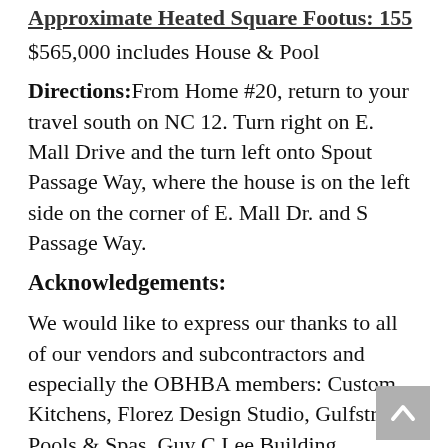Approximate Heated Square Footus: 155
$565,000 includes House & Pool
Directions: From Home #20, return to your travel south on NC 12. Turn right on E. Mall Drive and the turn left onto Spout Passage Way, where the house is on the left side on the corner of E. Mall Dr. and S Passage Way.
Acknowledgements:
We would like to express our thanks to all of our vendors and subcontractors and especially the OBHBA members: Custom Kitchens, Florez Design Studio, Gulfstream Pools & Spas, Guy C Lee Building Materials, Interiors by H & W, International Tile, Jared Hartleben, Kempsville Building Materials, Michael D. O'Steen, PE, 158 Construction, Outer Banks Elevator, Richards Building Supply, and Soundside Plumbing.
Builder Description: